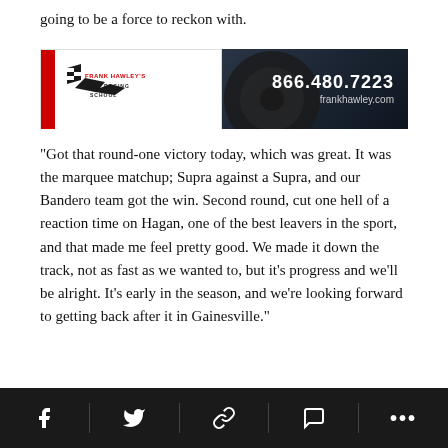going to be a force to reckon with.
[Figure (photo): Frank Hawley's Drag Racing School advertisement banner showing logo on left and drag racing car on right with phone number 866.480.7223 and website frankhawley.com]
“Got that round-one victory today, which was great. It was the marquee matchup; Supra against a Supra, and our Bandero team got the win. Second round, cut one hell of a reaction time on Hagan, one of the best leavers in the sport, and that made me feel pretty good. We made it down the track, not as fast as we wanted to, but it’s progress and we’ll be alright. It’s early in the season, and we’re looking forward to getting back after it in Gainesville.”
Social sharing icons: Facebook, Twitter, Link, Comment, More